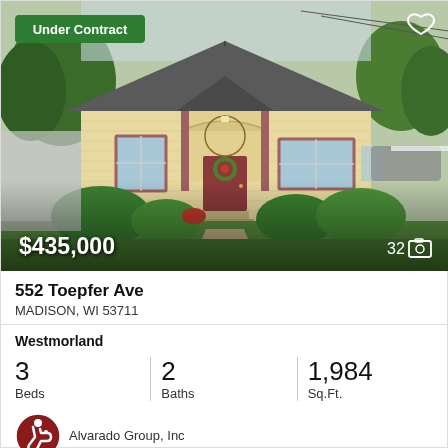[Figure (photo): Exterior photo of a yellow/cream bungalow-style house with a front porch, wreath on door, landscaped yard, and gray roof. 'Under Contract' badge top-left, heart icon top-right, price $435,000 and photo count 32 overlaid at bottom.]
552 Toepfer Ave
MADISON, WI 53711
Westmorland
3 Beds
2 Baths
1,984 Sq.Ft.
Alvarado Group, Inc